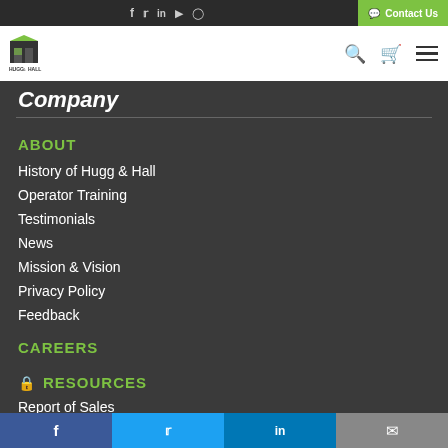Social icons: f, Twitter, in, YouTube, Instagram | Contact Us
[Figure (logo): Hugg & Hall logo with stylized building graphic and company name]
Company
ABOUT
History of Hugg & Hall
Operator Training
Testimonials
News
Mission & Vision
Privacy Policy
Feedback
CAREERS
RESOURCES
Report of Sales
GDS Safety
Facebook | Twitter | LinkedIn | Email